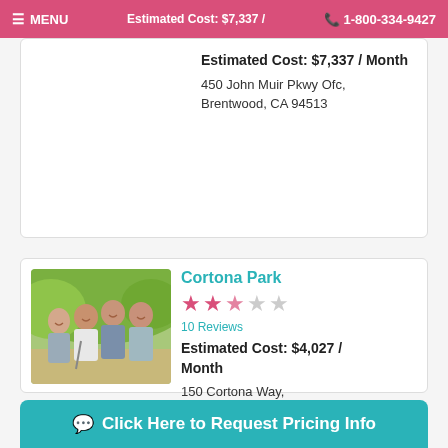≡ MENU   Estimated Cost: $7,337 / Month   📞 1-800-334-9427
Estimated Cost: $7,337 / Month
450 John Muir Pkwy Ofc,
Brentwood, CA 94513
[Figure (photo): Group of elderly people smiling outdoors]
Cortona Park
10 Reviews
Estimated Cost: $4,027 / Month
150 Cortona Way,
Brentwood, CA 94513
Click Here to Request Pricing Info